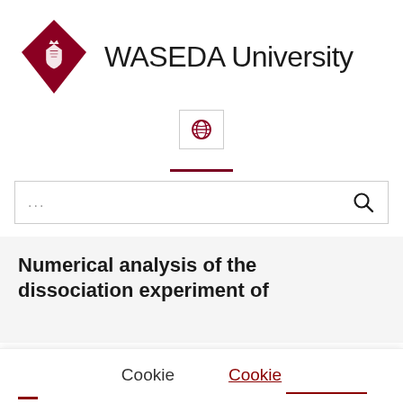[Figure (logo): Waseda University logo: red diamond shape with white crest inside, next to 'WASEDA University' text in black]
[Figure (other): Globe icon button in a bordered square]
[Figure (other): Dark red horizontal divider line]
[Figure (other): Search bar with ellipsis placeholder and magnifying glass icon]
Numerical analysis of the dissociation experiment of
Cookie   Cookie